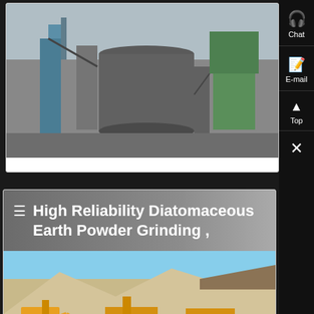[Figure (photo): Industrial grinding/milling equipment - large cylindrical tanks and green dust collector structure against overcast sky]
[Figure (photo): Outdoor quarry or mining site with yellow heavy equipment/crushers and conveyor belts on sandy terrain with hills in background]
High Reliability Diatomaceous Earth Powder Grinding ,
Chat
E-mail
Top